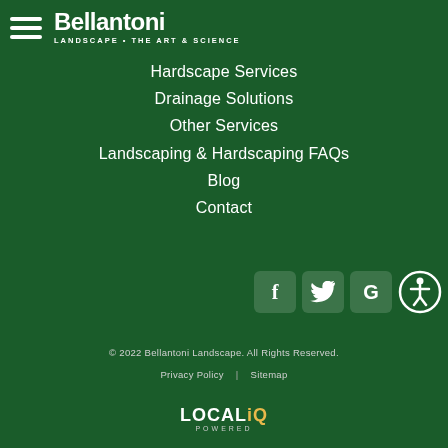Bellantoni LANDSCAPE • THE ART & SCIENCE
Hardscape Services
Drainage Solutions
Other Services
Landscaping & Hardscaping FAQs
Blog
Contact
[Figure (logo): Social media icons: Facebook (f), Twitter (bird), Google (G), and accessibility icon]
© 2022 Bellantoni Landscape. All Rights Reserved.
Privacy Policy | Sitemap
[Figure (logo): LOCALiQ POWERED logo]